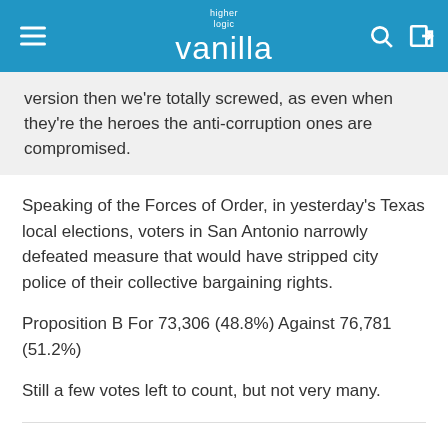higher logic vanilla
version then we're totally screwed, as even when they're the heroes the anti-corruption ones are compromised.
Speaking of the Forces of Order, in yesterday's Texas local elections, voters in San Antonio narrowly defeated measure that would have stripped city police of their collective bargaining rights.
Proposition B For 73,306 (48.8%) Against 76,781 (51.2%)
Still a few votes left to count, but not very many.
TOPPING Posts: 35,504 May 2021